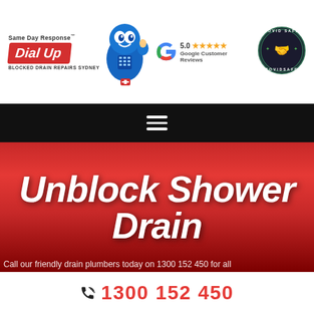[Figure (logo): Dial Up Blocked Drain Repairs Sydney logo with mascot character (blue teardrop shape with face giving thumbs up), red logo badge saying 'Dial Up', text 'Same Day Response' above and 'BLOCKED DRAIN REPAIRS SYDNEY' below]
[Figure (logo): Google Customer Reviews badge with Google G logo, 5.0 star rating, and five gold stars]
[Figure (logo): COVID SAFE badge circular logo with handshake icon and text '+COVID SAFE+']
[Figure (infographic): Black navigation bar with white hamburger menu icon (three horizontal lines)]
Unblock Shower Drain
Call our friendly drain plumbers today on 1300 152 450 for all
1300 152 450